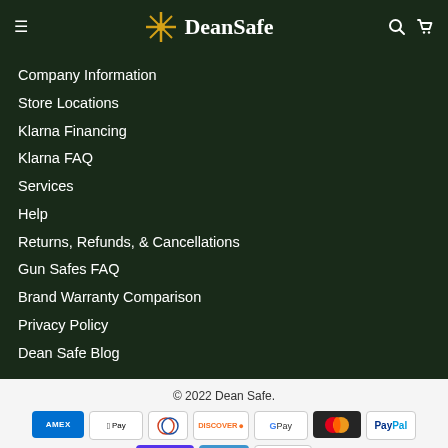Dean Safe - navigation header with hamburger menu, logo, search and cart icons
Company Information
Store Locations
Klarna Financing
Klarna FAQ
Services
Help
Returns, Refunds, & Cancellations
Gun Safes FAQ
Brand Warranty Comparison
Privacy Policy
Dean Safe Blog
© 2022 Dean Safe.
[Figure (logo): Payment method icons: American Express, Apple Pay, Diners Club, Discover, Google Pay, Mastercard, PayPal, Shop Pay, Venmo, Visa]